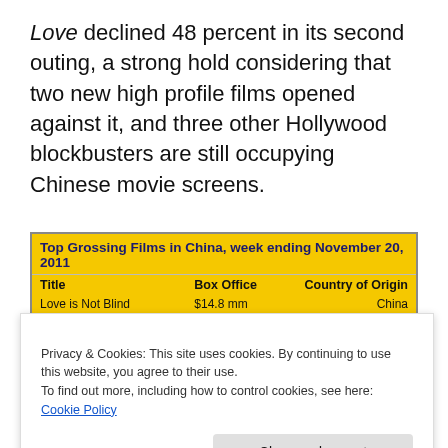Love declined 48 percent in its second outing, a strong hold considering that two new high profile films opened against it, and three other Hollywood blockbusters are still occupying Chinese movie screens.
| Title | Box Office | Country of Origin |
| --- | --- | --- |
| Love is Not Blind | $14.8 mm | China |
| Adventures of Tintin | $9.3 mm | USA |
Privacy & Cookies: This site uses cookies. By continuing to use this website, you agree to their use. To find out more, including how to control cookies, see here: Cookie Policy
year—overall box office was up by more than 50 percent